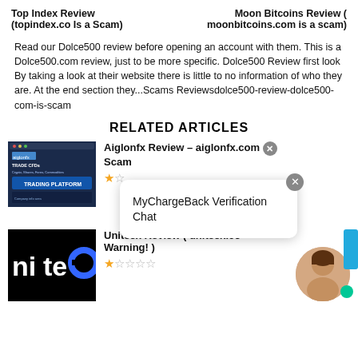Top Index Review (topindex.co Is a Scam)   Moon Bitcoins Review ( moonbitcoins.com is a scam)
Read our Dolce500 review before opening an account with them. This is a Dolce500.com review, just to be more specific. Dolce500 Review first look By taking a look at their website there is little to no information of who they are. At the end section they...Scams Reviewsdolce500-review-dolce500-com-is-scam
RELATED ARTICLES
[Figure (screenshot): Trading platform screenshot showing 'TRADE CFDs' with Crypto, Shares, Forex, Commodities]
Aiglonfx Review – aiglonfx.com Scam
★☆ (star rating 1/5)
[Figure (screenshot): MyChargeBack Verification Chat popup with X close button]
[Figure (logo): Uniteex logo (niteé) on black background]
Uniteex Review ( uniteex.co Warning! )
★☆☆☆☆ (star rating 1/5)